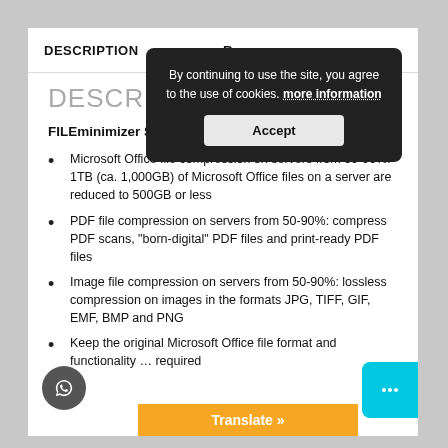DESCRIPTION
[Figure (screenshot): Cookie consent overlay popup with dark background reading 'By continuing to use the site, you agree to the use of cookies. more information' with an Accept button]
DESCRIPTION
FILEminimizer Server Highlights
Microsoft Office file compression on servers from 50-90%: 1TB (ca. 1,000GB) of Microsoft Office files on a server are reduced to 500GB or less
PDF file compression on servers from 50-90%: compress PDF scans, “born-digital” PDF files and print-ready PDF files
Image file compression on servers from 50-90%: lossless compression on images in the formats JPG, TIFF, GIF, EMF, BMP and PNG
Keep the original Microsoft Office file format and functionality … required